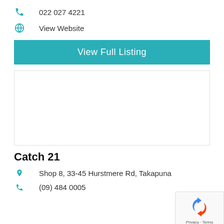022 027 4221
View Website
View Full Listing
[Figure (map): Embedded map area, blank/white placeholder]
Catch 21
Shop 8, 33-45 Hurstmere Rd, Takapuna
(09) 484 0005